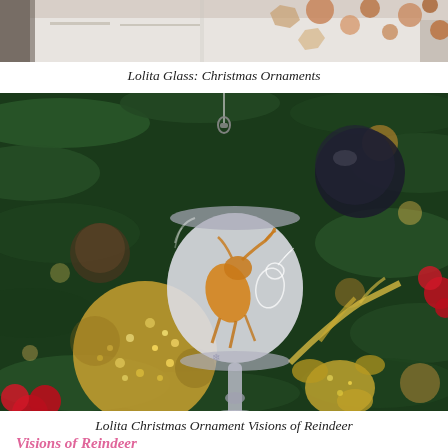[Figure (photo): Top portion of a photo showing a table scene with confetti and decorative items, partially cropped]
Lolita Glass: Christmas Ornaments
[Figure (photo): A miniature Lolita wine glass ornament with reindeer design hanging on a Christmas tree surrounded by glittery ornaments and red decorations]
Lolita Christmas Ornament Visions of Reindeer
Visions of Reindeer